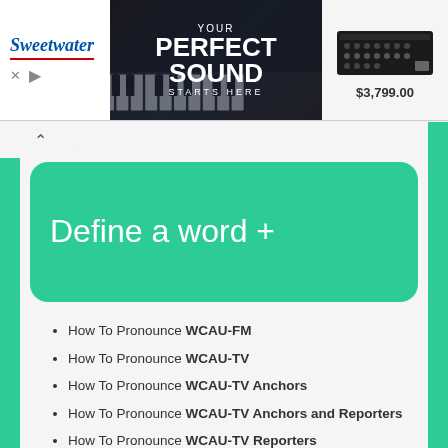[Figure (screenshot): Sweetwater advertisement banner showing 'YOUR PERFECT SOUND STARTS HERE' with keyboard images and a synthesizer priced at $3,799.00]
[Figure (screenshot): Green rounded box with white text reading 'Define a word +']
How To Pronounce WCAU-FM
How To Pronounce WCAU-TV
How To Pronounce WCAU-TV Anchors
How To Pronounce WCAU-TV Anchors and Reporters
How To Pronounce WCAU-TV Reporters
How To Pronounce WCAU-TV10